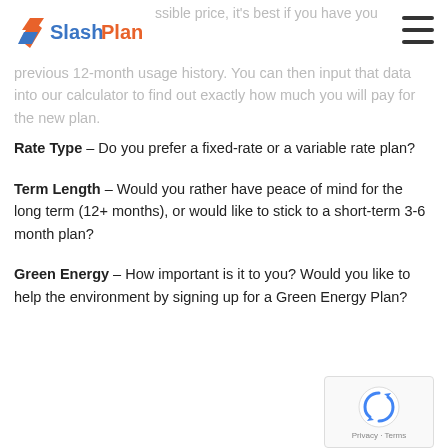SlashPlan
Monthly Usage – This will directly affect your effective price. To get the best possible price, it's best if you have your previous 12-month usage history. You can then input that data into our calculator to find out exactly how much you will pay for the new plan.
Rate Type – Do you prefer a fixed-rate or a variable rate plan?
Term Length – Would you rather have peace of mind for the long term (12+ months), or would like to stick to a short-term 3-6 month plan?
Green Energy – How important is it to you? Would you like to help the environment by signing up for a Green Energy Plan?